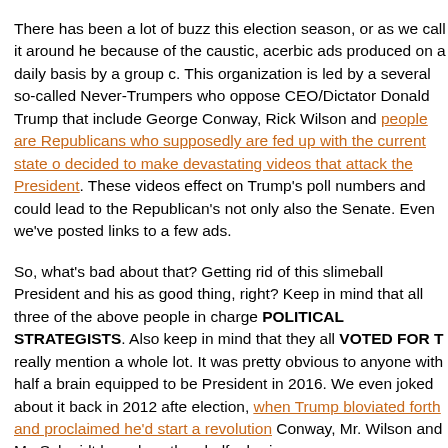There has been a lot of buzz this election season, or as we call it around here, because of the caustic, acerbic ads produced on a daily basis by a group c. This organization is led by a several so-called Never-Trumpers who oppose CEO/Dictator Donald Trump that include George Conway, Rick Wilson and people are Republicans who supposedly are fed up with the current state o decided to make devastating videos that attack the President. These videos effect on Trump's poll numbers and could lead to the Republican's not only also the Senate. Even we've posted links to a few ads.
So, what's bad about that? Getting rid of this slimeball President and his as good thing, right? Keep in mind that all three of the above people in charge POLITICAL STRATEGISTS. Also keep in mind that they all VOTED FOR T really mention a whole lot. It was pretty obvious to anyone with half a brain equipped to be President in 2016. We even joked about it back in 2012 afte election, when Trump bloviated forth and proclaimed he'd start a revolution Conway, Mr. Wilson and Mr. Schmidt have less than half a brain.
Consider this about each one, too, and you'll realize the whole Lincoln Proj smell test. Conway is married to Kellyanne Conway, the President's Prevar lamely to spin every stupid thing Trump says into a fountain of wisdom. Ho married to this woman? What's more, As staff curmudgeon Chester Einste someone who's married to this little lying con artist?" The whole operation i